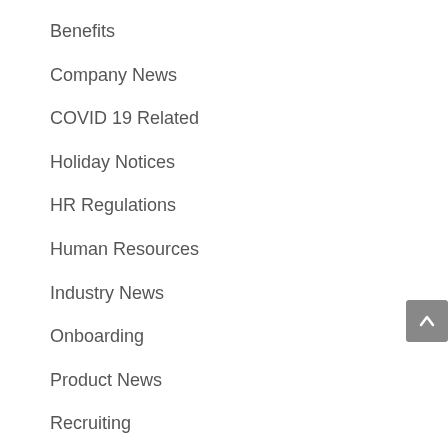Benefits
Company News
COVID 19 Related
Holiday Notices
HR Regulations
Human Resources
Industry News
Onboarding
Product News
Recruiting
Regulatory Updates
Retirement Services
Small Business Resources